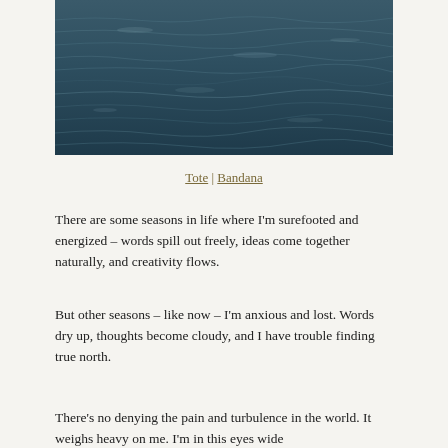[Figure (photo): Aerial or close-up photograph of dark blue-grey ocean water with rippling waves and light reflections on the surface.]
Tote | Bandana
There are some seasons in life where I'm surefooted and energized – words spill out freely, ideas come together naturally, and creativity flows.
But other seasons – like now – I'm anxious and lost. Words dry up, thoughts become cloudy, and I have trouble finding true north.
There's no denying the pain and turbulence in the world. It weighs heavy on me. I'm in this eyes wide